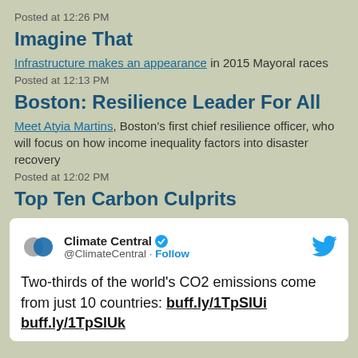Posted at 12:26 PM
Imagine That
Infrastructure makes an appearance in 2015 Mayoral races
Posted at 12:13 PM
Boston: Resilience Leader For All
Meet Atyia Martins, Boston's first chief resilience officer, who will focus on how income inequality factors into disaster recovery
Posted at 12:02 PM
Top Ten Carbon Culprits
[Figure (screenshot): Embedded tweet from @ClimateCentral: 'Two-thirds of the world's CO2 emissions come from just 10 countries: buff.ly/1TpSlUi buff.ly/1TpSlUk']